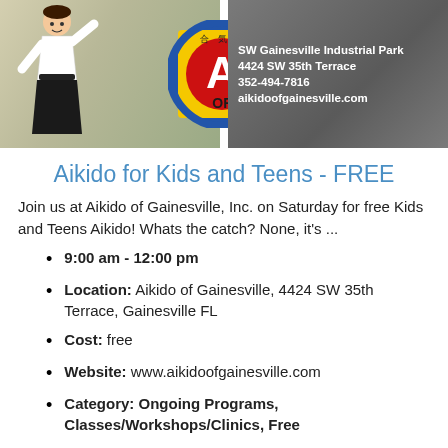[Figure (illustration): Aikido of Gainesville banner with a karate kid cartoon figure on the left, the Aikido of Gainesville logo (circular yellow and blue with red A) in the center, and contact information on the right: SW Gainesville Industrial Park, 4424 SW 35th Terrace, 352-494-7816, aikidoofgainesville.com]
Aikido for Kids and Teens - FREE
Join us at Aikido of Gainesville, Inc. on Saturday for free Kids and Teens Aikido! Whats the catch? None, it's ...
9:00 am - 12:00 pm
Location: Aikido of Gainesville, 4424 SW 35th Terrace, Gainesville FL
Cost: free
Website: www.aikidoofgainesville.com
Category: Ongoing Programs, Classes/Workshops/Clinics, Free